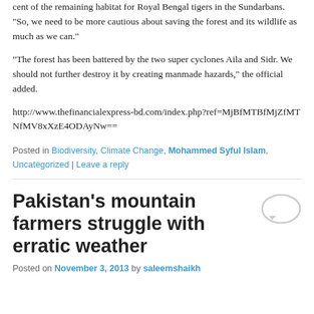cent of the remaining habitat for Royal Bengal tigers in the Sundarbans. “So, we need to be more cautious about saving the forest and its wildlife as much as we can.”
“The forest has been battered by the two super cyclones Aila and Sidr. We should not further destroy it by creating manmade hazards,” the official added.
http://www.thefinancialexpress-bd.com/index.php?ref=MjBfMTBfMjZfMTNfMV8xXzE4ODAyNw==
Posted in Biodiversity, Climate Change, Mohammed Syful Islam, Uncategorized | Leave a reply
Pakistan’s mountain farmers struggle with erratic weather
Posted on November 3, 2013 by saleemshaikh